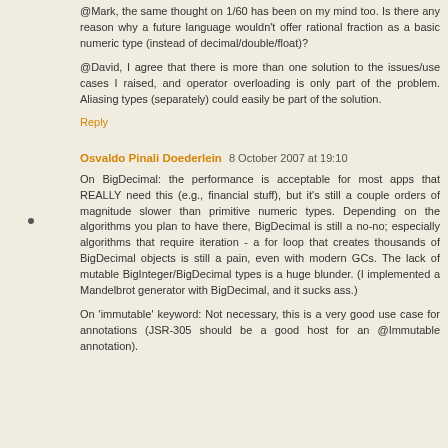@Mark, the same thought on 1/60 has been on my mind too. Is there any reason why a future language wouldn't offer rational fraction as a basic numeric type (instead of decimal/double/float)?
@David, I agree that there is more than one solution to the issues/use cases I raised, and operator overloading is only part of the problem. Aliasing types (separately) could easily be part of the solution.
Reply
Osvaldo Pinali Doederlein  8 October 2007 at 19:10
On BigDecimal: the performance is acceptable for most apps that REALLY need this (e.g., financial stuff), but it's still a couple orders of magnitude slower than primitive numeric types. Depending on the algorithms you plan to have there, BigDecimal is still a no-no; especially algorithms that require iteration - a for loop that creates thousands of BigDecimal objects is still a pain, even with modern GCs. The lack of mutable BigInteger/BigDecimal types is a huge blunder. (I implemented a Mandelbrot generator with BigDecimal, and it sucks ass.)
On 'immutable' keyword: Not necessary, this is a very good use case for annotations (JSR-305 should be a good host for an @Immutable annotation).